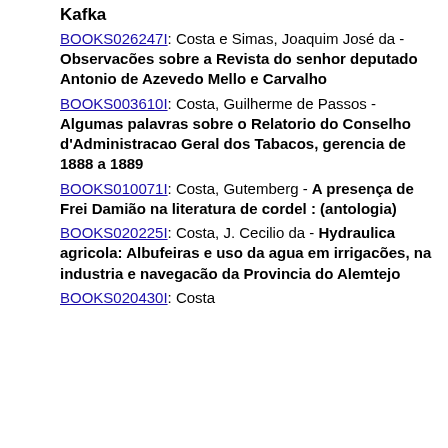Kafka
BOOKS026247I: Costa e Simas, Joaquim José da - Observacões sobre a Revista do senhor deputado Antonio de Azevedo Mello e Carvalho
BOOKS003610I: Costa, Guilherme de Passos - Algumas palavras sobre o Relatorio do Conselho d'Administracao Geral dos Tabacos, gerencia de 1888 a 1889
BOOKS010071I: Costa, Gutemberg - A presença de Frei Damião na literatura de cordel : (antologia)
BOOKS020225I: Costa, J. Cecilio da - Hydraulica agricola: Albufeiras e uso da agua em irrigacões, na industria e navegacão da Provincia do Alemtejo
BOOKS020430I: Costa